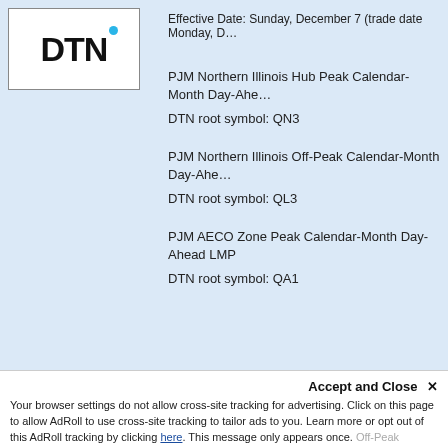[Figure (logo): DTN logo with blue dot above the N]
Effective Date: Sunday, December 7 (trade date Monday, D...
PJM Northern Illinois Hub Peak Calendar-Month Day-Ahe...
DTN root symbol: QN3
PJM Northern Illinois Off-Peak Calendar-Month Day-Ahe...
DTN root symbol: QL3
PJM AECO Zone Peak Calendar-Month Day-Ahead LMP
DTN root symbol: QA1
Accept and Close ✕
Your browser settings do not allow cross-site tracking for advertising. Click on this page to allow AdRoll to use cross-site tracking to tailor ads to you. Learn more or opt out of this AdRoll tracking by clicking here. This message only appears once.